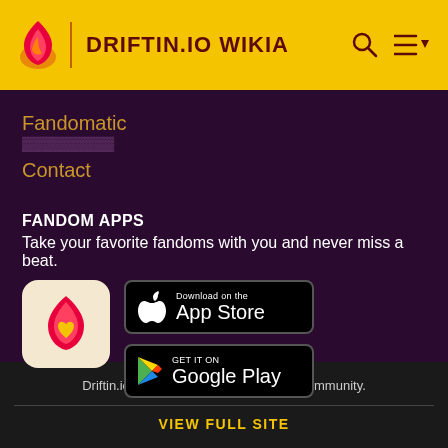DRIFTIN.IO WIKIA
Fandomatic
Contact
FANDOM APPS
Take your favorite fandoms with you and never miss a beat.
[Figure (logo): Fandom app icon with pink flame and golden heart on cream background]
[Figure (screenshot): Download on the App Store button (black, rounded rectangle)]
[Figure (screenshot): GET IT ON Google Play button (black, rounded rectangle)]
Driftin.io Wikia is a FANDOM Games Community.
VIEW FULL SITE